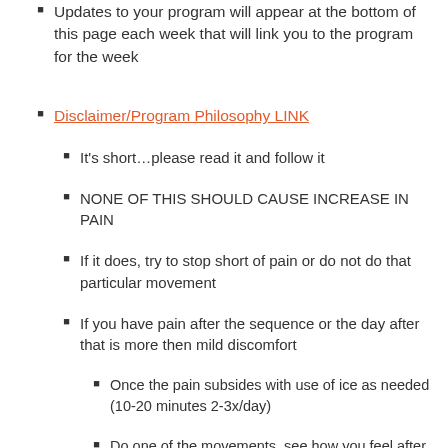Updates to your program will appear at the bottom of this page each week that will link you to the program for the week
Disclaimer/Program Philosophy LINK
It's short…please read it and follow it
NONE OF THIS SHOULD CAUSE INCREASE IN PAIN
If it does, try to stop short of pain or do not do that particular movement
If you have pain after the sequence or the day after that is more then mild discomfort
Once the pain subsides with use of ice as needed (10-20 minutes 2-3x/day)
Do one of the movements, see how you feel after and the next day
If that goes fine do that movement and add